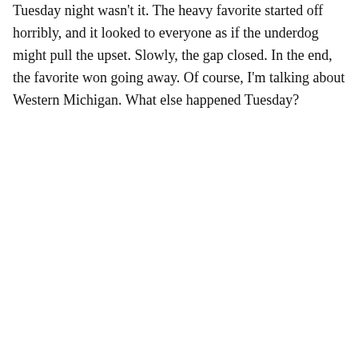Tuesday night wasn't it. The heavy favorite started off horribly, and it looked to everyone as if the underdog might pull the upset. Slowly, the gap closed. In the end, the favorite won going away. Of course, I'm talking about Western Michigan. What else happened Tuesday?